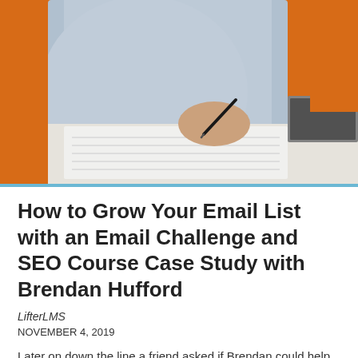[Figure (photo): A person writing in a notebook with a pen, sitting at a desk with a laptop nearby and an orange background wall behind them. The person is wearing a light blue shirt.]
How to Grow Your Email List with an Email Challenge and SEO Course Case Study with Brendan Hufford
LifterLMS
NOVEMBER 4, 2019
Later on down the line a friend asked if Brendan could help